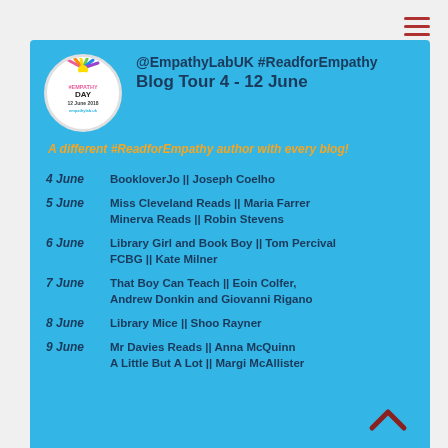[Figure (logo): EmpathyLab circular logo with rainbow rays, #EMPATHY DAY text, 12 June 2018 date, empathylab.uk website]
@EmpathyLabUK #ReadforEmpathy Blog Tour 4 - 12 June
A different #ReadforEmpathy author with every blog!
4 June    BookloverJo || Joseph Coelho
5 June    Miss Cleveland Reads || Maria Farrer
              Minerva Reads || Robin Stevens
6 June    Library Girl and Book Boy || Tom Percival
              FCBG || Kate Milner
7 June    That Boy Can Teach || Eoin Colfer,
              Andrew Donkin and Giovanni Rigano
8 June    Library Mice || Shoo Rayner
9 June    Mr Davies Reads || Anna McQuinn
              A Little But A Lot || Margi McAllister